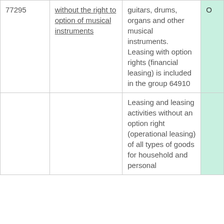| 77295 | without the right to option of musical instruments | guitars, drums, organs and other musical instruments. Leasing with option rights (financial leasing) is included in the group 64910 | O |
|  |  | Leasing and leasing activities without an option right (operational leasing) of all types of goods for household and personal |  |